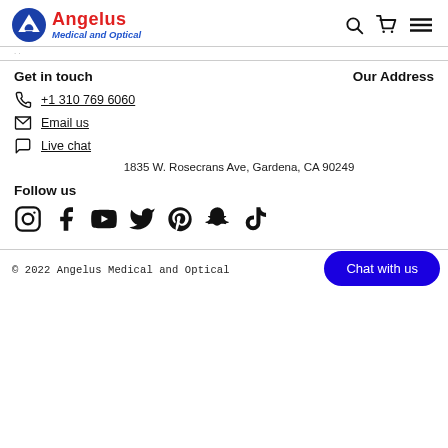Angelus Medical and Optical
Get in touch
Our Address
+1 310 769 6060
Email us
Live chat
1835 W. Rosecrans Ave, Gardena, CA 90249
Follow us
[Figure (infographic): Social media icons: Instagram, Facebook, YouTube, Twitter, Pinterest, Snapchat, TikTok]
© 2022 Angelus Medical and Optical   Pow
Chat with us